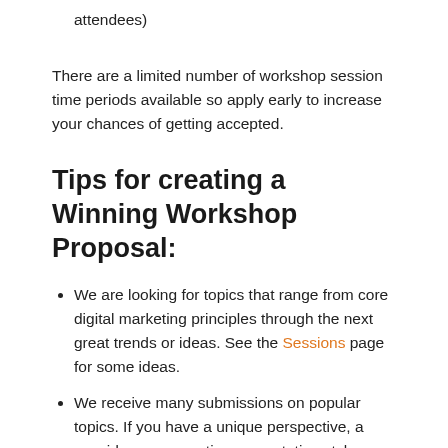attendees)
There are a limited number of workshop session time periods available so apply early to increase your chances of getting accepted.
Tips for creating a Winning Workshop Proposal:
We are looking for topics that range from core digital marketing principles through the next great trends or ideas. See the Sessions page for some ideas.
We receive many submissions on popular topics. If you have a unique perspective, a new idea, or a creative presentation style we want to know about it!